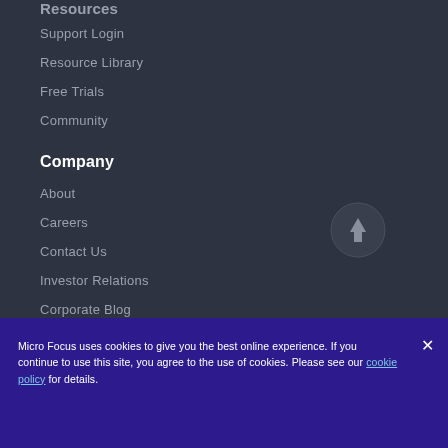Resources
Support Login
Resource Library
Free Trials
Community
Company
About
Careers
Contact Us
Investor Relations
Corporate Blog
Micro Focus uses cookies to give you the best online experience. If you continue to use this site, you agree to the use of cookies. Please see our cookie policy for details.